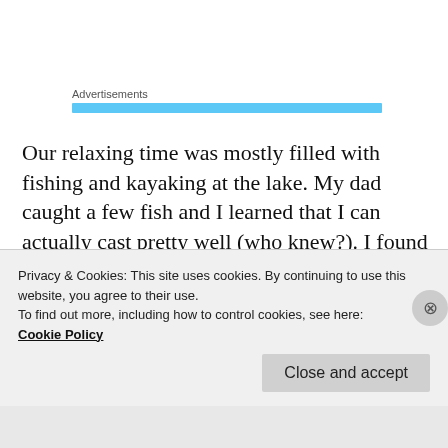Advertisements
[Figure (other): Blue horizontal bar under Advertisements label]
Our relaxing time was mostly filled with fishing and kayaking at the lake. My dad caught a few fish and I learned that I can actually cast pretty well (who knew?). I found fishing to be surprisingly meditative and peaceful; trying to fish with toddlers... not so much, but amusing. It was also great to finally get good use out of our two inflatable kayaks. The
Privacy & Cookies: This site uses cookies. By continuing to use this website, you agree to their use.
To find out more, including how to control cookies, see here:
Cookie Policy
Close and accept